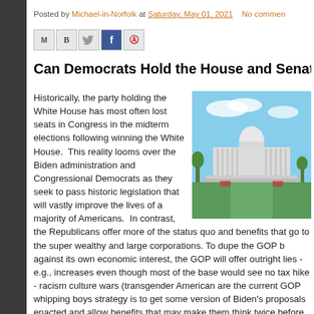Posted by Michael-in-Norfolk at Saturday, May 01, 2021   No commen
[Figure (screenshot): Social sharing buttons: Email (M), BlogThis (B), Twitter bird icon, Facebook (f), Pinterest (P)]
Can Democrats Hold the House and Senate
[Figure (photo): Photo of the U.S. Capitol building with green lawn in the foreground and blue sky]
Historically, the party holding the White House has most often lost seats in Congress in the midterm elections following winning the White House.  This reality looms over the Biden administration and Congressional Democrats as they seek to pass historic legislation that will vastly improve the lives of a majority of Americans.  In contrast, the Republicans offer more of the status quo and benefits that go to the super wealthy and large corporations. To dupe the GOP b against its own economic interest, the GOP will offer outright lies - e.g., increases even though most of the base would see no tax hike - racism culture wars (transgender American are the current GOP whipping boys strategy is to get some version of Biden's proposals enacted and allow benefits that may make them think twice before yet again falling for dog and other derisive messaging.   The other Democrat advantage is the s